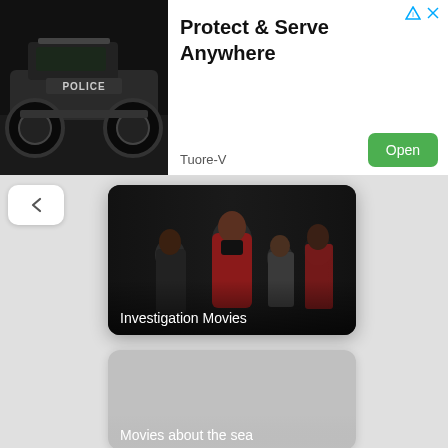[Figure (screenshot): Advertisement banner with black-and-white image of a police RC truck on the left, and text 'Protect & Serve Anywhere' with 'Tuore-V' branding and a green 'Open' button on the right]
Protect & Serve Anywhere
Tuore-V
[Figure (screenshot): Investigation Movies card showing people in red coats with text overlay 'Investigation Movies']
[Figure (screenshot): Partially visible movie card with gray placeholder image and text 'Movies about the sea' partially visible at bottom]